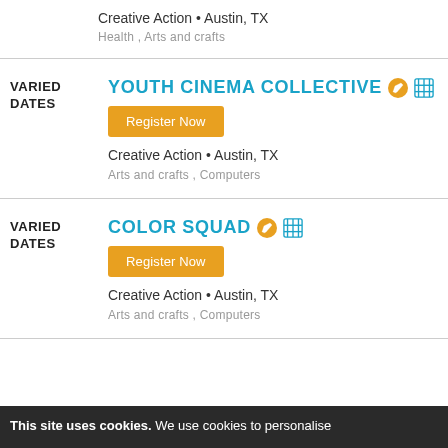Creative Action • Austin, TX
Health , Arts and crafts
VARIED DATES
YOUTH CINEMA COLLECTIVE
Register Now
Creative Action • Austin, TX
Arts and crafts , Computers
VARIED DATES
COLOR SQUAD
Register Now
Creative Action • Austin, TX
Arts and crafts , Computers
This site uses cookies. We use cookies to personalise